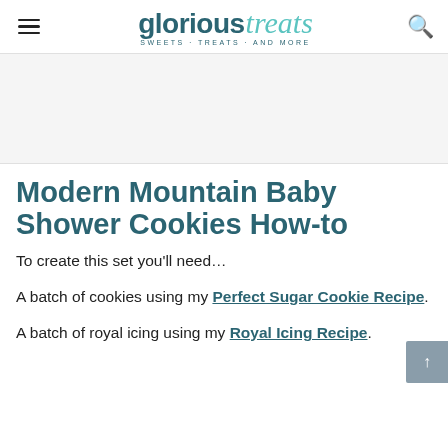glorioustreats SWEETS · TREATS · AND MORE
[Figure (other): Gray advertisement/banner placeholder area]
Modern Mountain Baby Shower Cookies How-to
To create this set you'll need…
A batch of cookies using my Perfect Sugar Cookie Recipe.
A batch of royal icing using my Royal Icing Recipe.